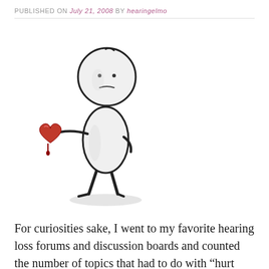PUBLISHED ON July 21, 2008 by hearingelmo
[Figure (illustration): A stick-figure style drawing of a round-headed character holding out a red heart that is dripping a drop of blood, set against a white background. The figure stands with legs apart on a shadowed ground.]
For curiosities sake, I went to my favorite hearing loss forums and discussion boards and counted the number of topics that had to do with “hurt feelings” and being